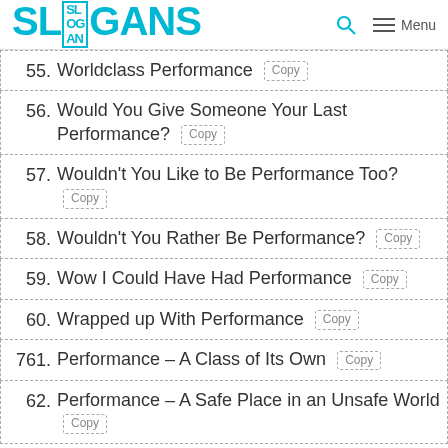SLOGANS — Menu
55. Worldclass Performance
56. Would You Give Someone Your Last Performance?
57. Wouldn't You Like to Be Performance Too?
58. Wouldn't You Rather Be Performance?
59. Wow I Could Have Had Performance
60. Wrapped up With Performance
761. Performance – A Class of Its Own
62. Performance – A Safe Place in an Unsafe World